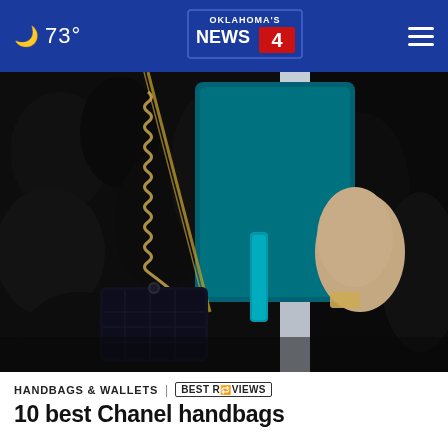🌙 73° | Oklahoma's News 4 | ☰
[Figure (photo): Close-up street fashion photo of a person wearing a black curly fur coat and holding a dark quilted Chanel-style handbag with gold chain strap. A teal bag or garment is visible in the background.]
HANDBAGS & WALLETS | BESTREVIEWS
10 best Chanel handbags...